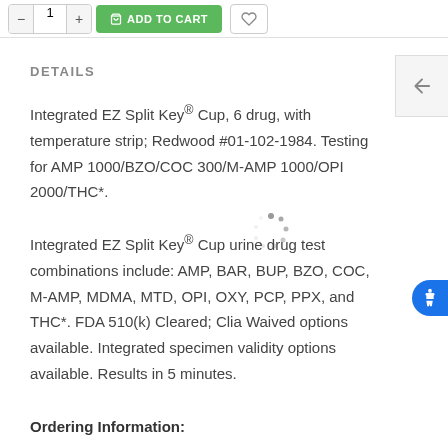[Figure (screenshot): Top navigation bar with quantity selector buttons (minus, input, plus), green ADD TO CART button, and wishlist heart icon button]
DETAILS
Integrated EZ Split Key® Cup, 6 drug, with temperature strip; Redwood #01-102-1984. Testing for AMP 1000/BZO/COC 300/M-AMP 1000/OPI 2000/THC*.
Integrated EZ Split Key® Cup urine drug test combinations include: AMP, BAR, BUP, BZO, COC, M-AMP, MDMA, MTD, OPI, OXY, PCP, PPX, and THC*. FDA 510(k) Cleared; Clia Waived options available. Integrated specimen validity options available. Results in 5 minutes.
Ordering Information: